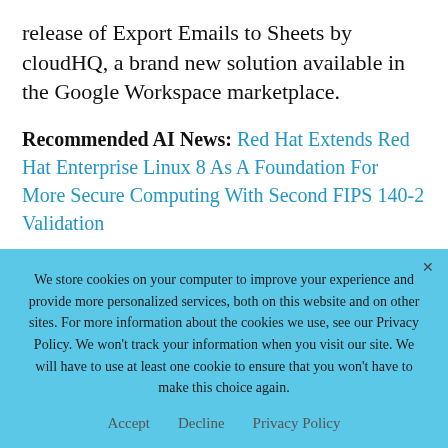release of Export Emails to Sheets by cloudHQ, a brand new solution available in the Google Workspace marketplace.
Recommended AI News: Red Hat Extends Red Hat Enterprise Linux 8 As A Foundation For More Secure Computing With Second FIPS 140-2 Validation
Export Emails to Sheets is a Gmail add-on that gives you the ability to export your emails from...
We store cookies on your computer to improve your experience and provide more personalized services, both on this website and on other sites. For more information about the cookies we use, see our Privacy Policy. We won't track your information when you visit our site. We will have to use at least one cookie to ensure that you won't have to make this choice again.
Accept   Decline   Privacy Policy